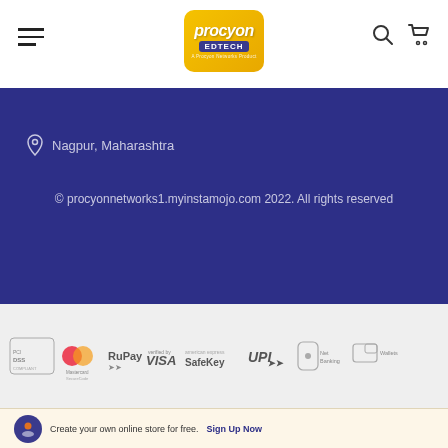[Figure (logo): Procyon Edtech logo in yellow rounded square with blue header icons (search, cart) and hamburger menu]
Nagpur, Maharashtra
© procyonnetworks1.myinstamojo.com 2022. All rights reserved
[Figure (logo): Payment method logos: PCI DSS, Mastercard SecureCode, RuPay, Verified by VISA, SafeKey, UPI, Net Banking, Wallets]
Create your own online store for free.
Sign Up Now